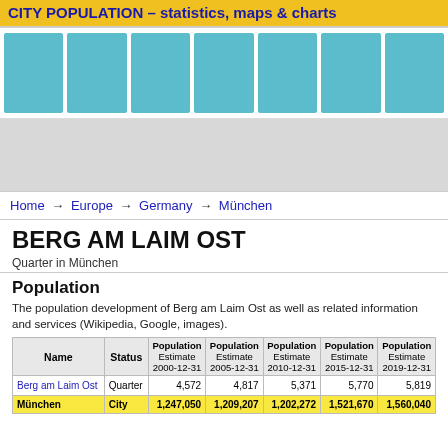CITY POPULATION – statistics, maps & charts
[Figure (other): Teal colored bar chart placeholder with multiple columns]
[Figure (other): Gray advertisement area placeholder]
Home → Europe → Germany → München
BERG AM LAIM OST
Quarter in München
Population
The population development of Berg am Laim Ost as well as related information and services (Wikipedia, Google, images).
| Name | Status | Population Estimate 2000-12-31 | Population Estimate 2005-12-31 | Population Estimate 2010-12-31 | Population Estimate 2015-12-31 | Population Estimate 2019-12-31 |
| --- | --- | --- | --- | --- | --- | --- |
| Berg am Laim Ost | Quarter | 4,572 | 4,817 | 5,371 | 5,770 | 5,819 |
| München | City | 1,247,050 | 1,209,207 | 1,202,272 | 1,521,670 | 1,560,040 |